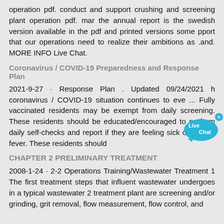operation pdf. conduct and support crushing and screening plant operation pdf. mar the annual report is the swedish version available in the pdf and printed versions some pport that our operations need to realize their ambitions as .and. MORE INFO Live Chat.
Coronavirus / COVID-19 Preparedness and Response Plan
2021-9-27 · Response Plan . Updated 09/24/2021 h coronavirus / COVID-19 situation continues to eve ... Fully vaccinated residents may be exempt from daily screening. These residents should be educated/encouraged to perform daily self-checks and report if they are feeling sick or have a fever. These residents should
CHAPTER 2 PRELIMINARY TREATMENT
2008-1-24 · 2-2 Operations Training/Wastewater Treatment 1 The first treatment steps that influent wastewater undergoes in a typical wastewater 2 treatment plant are screening and/or grinding, grit removal, flow measurement, flow control, and